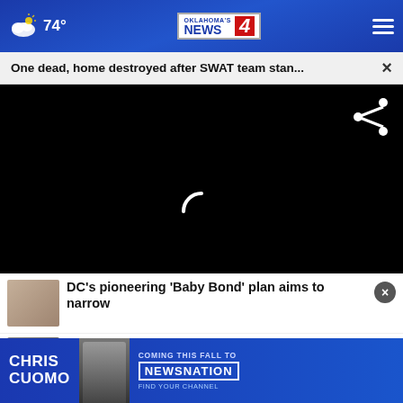74° Oklahoma's News 4
One dead, home destroyed after SWAT team stan... ×
[Figure (screenshot): Black video player area with share icon and loading spinner]
DC's pioneering 'Baby Bond' plan aims to narrow
[Figure (screenshot): Chris Cuomo ad banner - Coming This Fall To NewsNation - Find Your Channel]